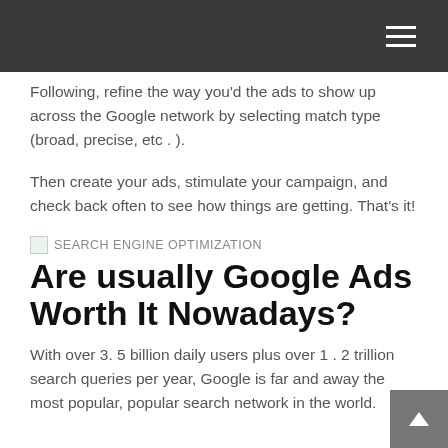Following, refine the way you'd the ads to show up across the Google network by selecting match type (broad, precise, etc . ).
Then create your ads, stimulate your campaign, and check back often to see how things are getting. That's it!
SEARCH ENGINE OPTIMIZATION
Are usually Google Ads Worth It Nowadays?
With over 3. 5 billion daily users plus over 1 . 2 trillion search queries per year, Google is far and away the most popular, popular search network in the world.